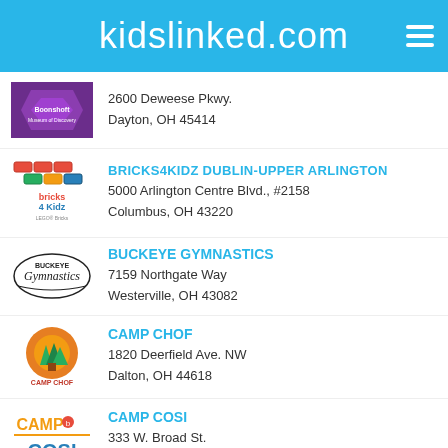kidslinked.com
2600 Deweese Pkwy.
Dayton, OH 45414
BRICKS4KIDZ DUBLIN-UPPER ARLINGTON
5000 Arlington Centre Blvd., #2158
Columbus, OH 43220
BUCKEYE GYMNASTICS
7159 Northgate Way
Westerville, OH 43082
CAMP CHOF
1820 Deerfield Ave. NW
Dalton, OH 44618
CAMP COSI
333 W. Broad St.
Columbus, OH 43215